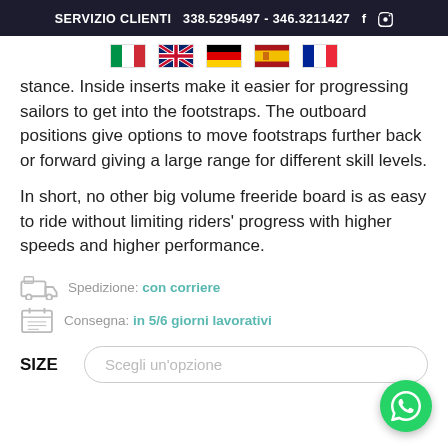SERVIZIO CLIENTI  338.5295497 - 346.3211427  f  Instagram
[Figure (illustration): Row of five country flags: Italy, United Kingdom, Germany, Spain, France]
stance. Inside inserts make it easier for progressing sailors to get into the footstraps. The outboard positions give options to move footstraps further back or forward giving a large range for different skill levels.
In short, no other big volume freeride board is as easy to ride without limiting riders' progress with higher speeds and higher performance.
Spedizione: con corriere
Consegna: in 5/6 giorni lavorativi
SIZE  Scegli un'opzione